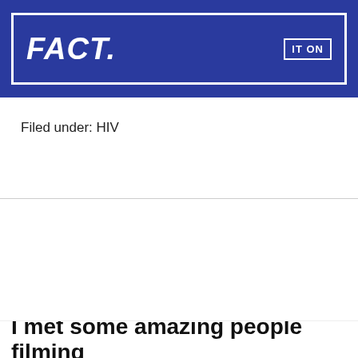[Figure (screenshot): Top portion of a blue banner with white bold italic text 'FACT.' and a white-bordered box with text 'IT ON' on the right]
Filed under: HIV
[Figure (screenshot): Mobile phone screenshot showing status bar with EE carrier, 7:42 pm, 46% battery; Twitter app Tweet view header; privacy and cookies popup banner with Close and accept button; partial text 'I met some amazing people filming']